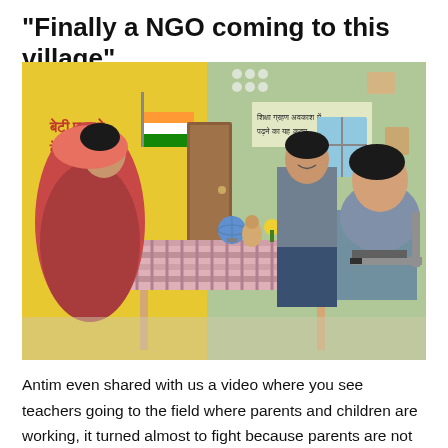“Finally a NGO coming to this village”
[Figure (photo): Photo of three people in a classroom or community center in India. A woman in a colorful sari sits on the left. A man in a gray shirt stands in the background smiling. A young man in a gray t-shirt sits on the right, apparently taking notes. A table with a striped cloth is in the center. Hindi text on a yellow painted wall is visible on the left, and a green wall with posters is on the right.]
Antim even shared with us a video where you see teachers going to the field where parents and children are working, it turned almost to fight because parents are not willing to let their kids going to school. I can understand the complexity of their daily life and who